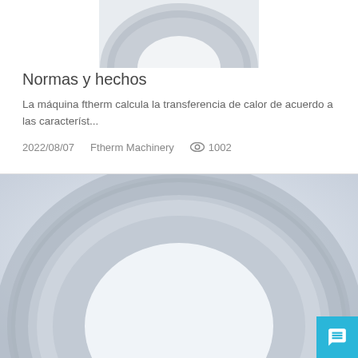[Figure (photo): Partial top view of a circular ring/torus machine component — grey metallic ring, cropped, showing only the top portion]
Normas y hechos
La máquina ftherm calcula la transferencia de calor de acuerdo a las característ...
2022/08/07    Ftherm Machinery    👁 1002
[Figure (photo): Large circular ring/torus machine component — grey metallic ring on light blue-grey background, showing most of the ring with an open center, cropped at the bottom]